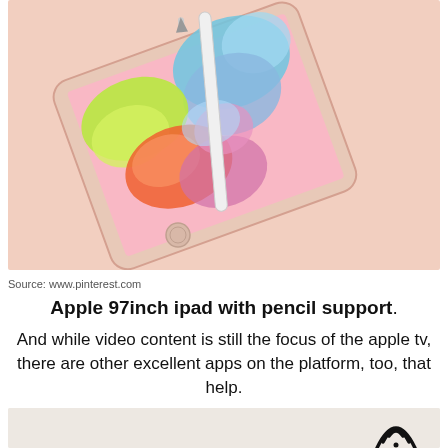[Figure (photo): An Apple iPad (gold/rose gold color) shown at an angle with an Apple Pencil resting on its screen, which displays colorful digital artwork on a pink background. The iPad is on a peach/salmon colored surface.]
Source: www.pinterest.com
Apple 97inch ipad with pencil support. And while video content is still the focus of the apple tv, there are other excellent apps on the platform, too, that help.
[Figure (illustration): Bottom portion of another image showing a light gray/beige background with a black WiFi icon visible in the lower right area.]